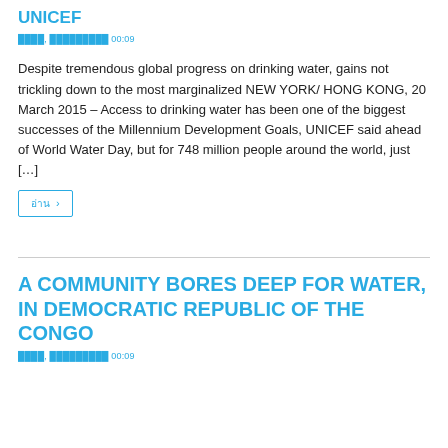UNICEF
████, █████████ 00:09
Despite tremendous global progress on drinking water, gains not trickling down to the most marginalized NEW YORK/ HONG KONG, 20 March 2015 – Access to drinking water has been one of the biggest successes of the Millennium Development Goals, UNICEF said ahead of World Water Day, but for 748 million people around the world, just […]
อ่าน ›
A COMMUNITY BORES DEEP FOR WATER, IN DEMOCRATIC REPUBLIC OF THE CONGO
████, █████████ 00:09